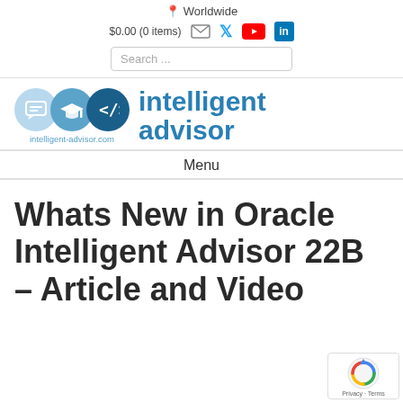📍 Worldwide
$0.00 (0 items) [envelope] [twitter] [youtube] [linkedin]
Search ...
[Figure (logo): Intelligent Advisor logo with three overlapping circles (light blue, medium blue, dark blue) containing chat, graduation cap, and code bracket icons, with URL intelligent-advisor.com below, and 'intelligent advisor' text in bold blue to the right]
Menu
Whats New in Oracle Intelligent Advisor 22B – Article and Video